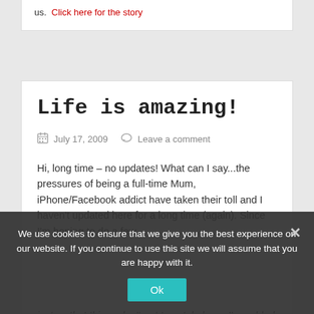us.  Click here for the story
Life is amazing!
July 17, 2009   Leave a comment
Hi, long time – no updates! What can I say...the pressures of being a full-time Mum, iPhone/Facebook addict have taken their toll and I haven't updated here for a long time (again).  Since I'm hoping to do a few
just so that things don't get too stale here, I've added a Facebook widget which will update my photos and
We use cookies to ensure that we give you the best experience on our website. If you continue to use this site we will assume that you are happy with it.
Ok